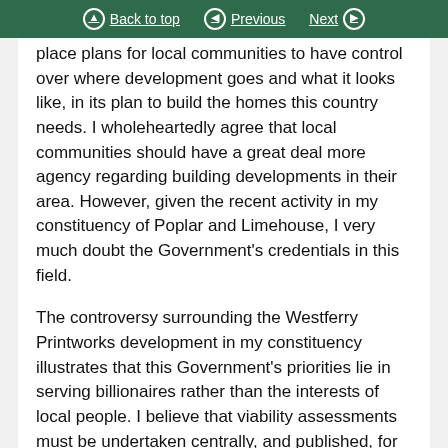Back to top | Previous | Next
place plans for local communities to have control over where development goes and what it looks like, in its plan to build the homes this country needs. I wholeheartedly agree that local communities should have a great deal more agency regarding building developments in their area. However, given the recent activity in my constituency of Poplar and Limehouse, I very much doubt the Government’s credentials in this field.

The controversy surrounding the Westferry Printworks development in my constituency illustrates that this Government’s priorities lie in serving billionaires rather than the interests of local people. I believe that viability assessments must be undertaken centrally, and published, for sites on which affordable housing is extracted. By allowing i